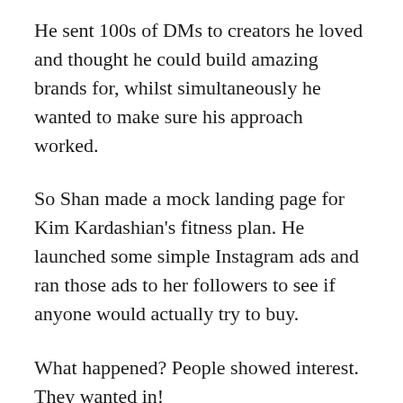He sent 100s of DMs to creators he loved and thought he could build amazing brands for, whilst simultaneously he wanted to make sure his approach worked.
So Shan made a mock landing page for Kim Kardashian's fitness plan. He launched some simple Instagram ads and ran those ads to her followers to see if anyone would actually try to buy.
What happened? People showed interest. They wanted in!
Shan wrote out emails and DMs to all the creators he thought he could help, and he started getting a few replies. But, what did he find? Most creators didn't believe they could actually build a